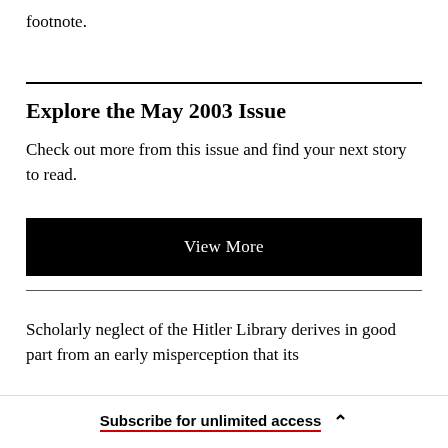footnote.
Explore the May 2003 Issue
Check out more from this issue and find your next story to read.
View More
Scholarly neglect of the Hitler Library derives in good part from an early misperception that its
Subscribe for unlimited access